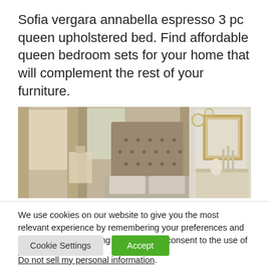Sofia vergara annabella espresso 3 pc queen upholstered bed. Find affordable queen bedroom sets for your home that will complement the rest of your furniture.
[Figure (photo): Photo of a bedroom set featuring a tufted upholstered headboard bed with beige/champagne tones, table lamp, curtains, and a mirrored dresser with decorative wall mirrors.]
We use cookies on our website to give you the most relevant experience by remembering your preferences and repeat visits. By clicking “Accept”, you consent to the use of ALL the cookies.
Do not sell my personal information.